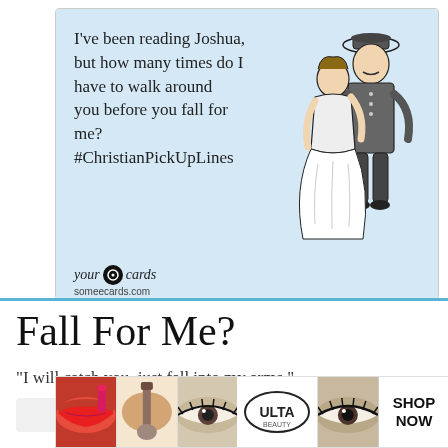[Figure (illustration): A someecards.com ecard with light blue background. Left side has text: "I've been reading Joshua, but how many times do I have to walk around you before you fall for me? #ChristianPickUpLines". Right side shows a vintage illustration of a man in military uniform embracing a woman in a white dress. Bottom left shows the 'your ecards someecards.com' branding logo.]
Fall For Me?
"I will catch you, just fall into my arms."
[Figure (photo): ULTA beauty advertisement banner showing close-up photos of makeup applications (lips, brush, eye) alongside the ULTA logo and 'SHOP NOW' call to action.]